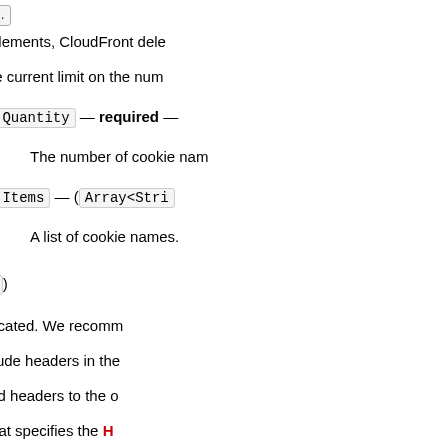child elements, CloudFront dele
For the current limit on the num
Quantity — required —
The number of cookie nam
Items — (Array<Stri
A list of cookie names.
Headers — (map)
This field is deprecated. We recomm
If you want to include headers in the
If you want to send headers to the o
A complex type that specifies the H specified object that is based on the